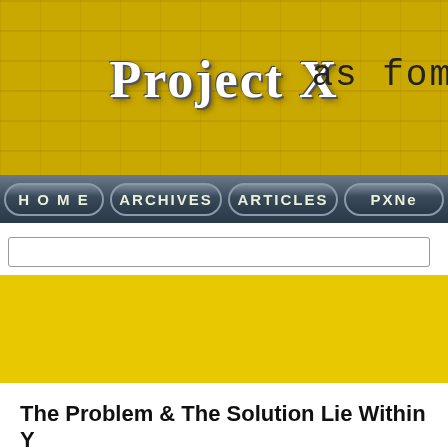[Figure (screenshot): Website header banner with yellow brick texture background, showing 'Project X' logo text and partial 'as for' text on the right side with decorative symbols]
[Figure (screenshot): Navigation bar with dark blue-grey rounded buttons: HOME, ARCHIVES, ARTICLES, PXNe]
The Problem & The Solution Lie Within Y
Author: Asoka Selvarajah    (all articles by this author)
Published on: May 16, 2003